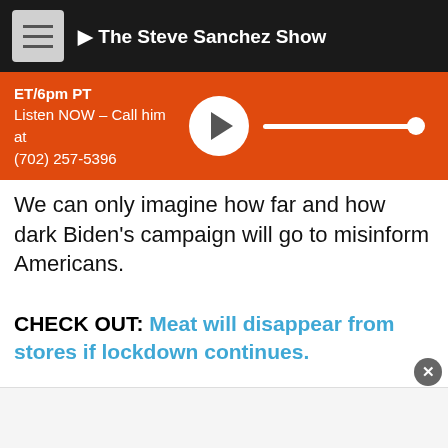The Steve Sanchez Show
ET/6pm PT
Listen NOW – Call him at
(702) 257-5396
We can only imagine how far and how dark Biden's campaign will go to misinform Americans.
CHECK OUT: Meat will disappear from stores if lockdown continues.
Share:
[Figure (photo): Older white-haired man photographed outdoors near wooden structure, carrying a basket.]